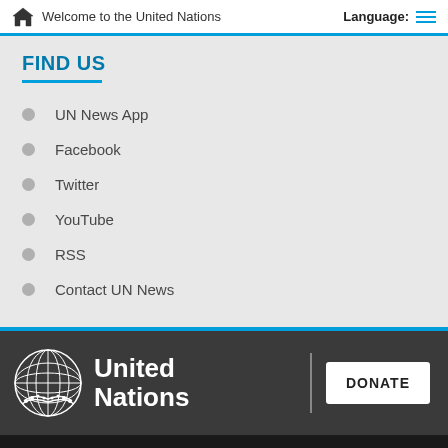Welcome to the United Nations   Language:
FIND US
UN News App
Facebook
Twitter
YouTube
RSS
Contact UN News
[Figure (logo): United Nations logo with globe emblem and text 'United Nations' in white on dark background]
00:00 / 00:03